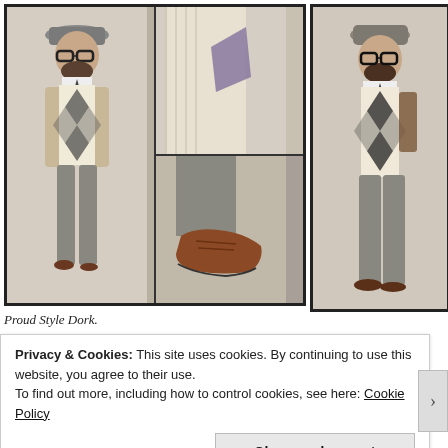[Figure (photo): Collage of four fashion photos showing a bearded man wearing a grey fedora hat, thick-rimmed glasses, argyle sweater vest over white shirt with dark tie, tweed trousers and brown leather shoes. Left panel: full-body shot. Top-right: close-up of sweater/vest detail. Bottom-right: close-up of trouser leg and brown leather shoe. Right large panel: full-body shot from different angle.]
When a Style Dork dresses, he's interested in signifiers and signifieds. Not just – how does this look. But also – what does this mean?
Proud Style Dork.
Privacy & Cookies: This site uses cookies. By continuing to use this website, you agree to their use.
To find out more, including how to control cookies, see here: Cookie Policy